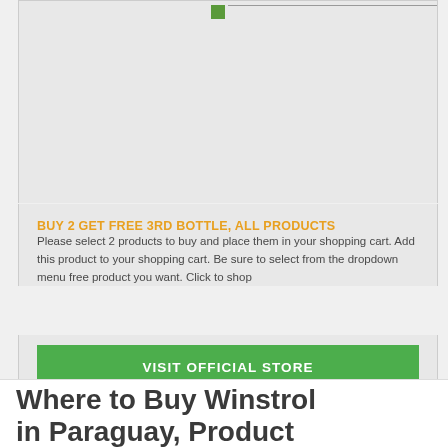[Figure (photo): Product image placeholder area with small green icon in top area of card]
BUY 2 GET FREE 3RD BOTTLE, ALL PRODUCTS
Please select 2 products to buy and place them in your shopping cart. Add this product to your shopping cart. Be sure to select from the dropdown menu free product you want. Click to shop
VISIT OFFICIAL STORE
Where to Buy Winstrol in Paraguay, Product